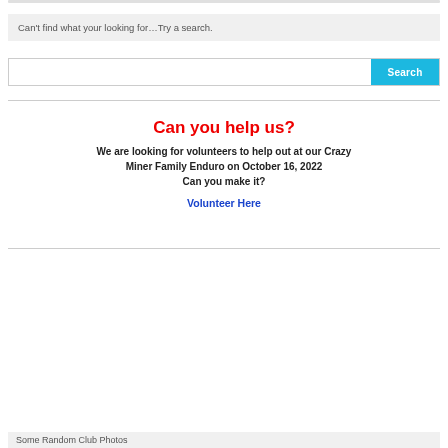Can't find what your looking for…Try a search.
Search
Can you help us?
We are looking for volunteers to help out at our Crazy Miner Family Enduro on October 16, 2022
Can you make it?
Volunteer Here
Some Random Club Photos